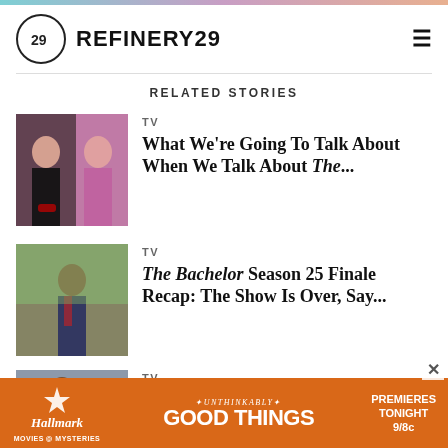REFINERY29
RELATED STORIES
TV — What We're Going To Talk About When We Talk About The...
TV — The Bachelor Season 25 Finale Recap: The Show Is Over, Say...
TV — The Bachelor Season 25 Episode 10 Recap: There's Grit...
[Figure (photo): Two women at a TV show set with roses]
[Figure (photo): Man in suit outdoors in nature setting]
[Figure (photo): Man in jacket outdoors]
[Figure (other): Hallmark Movies & Mysteries ad: Unthinkably Good Things, Premieres Tonight 9/8c]